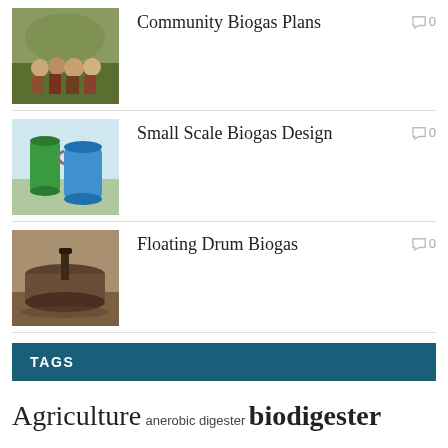[Figure (photo): Community biogas plans thumbnail showing group of people outdoors]
Community Biogas Plans
0 comments
[Figure (photo): Small scale biogas design thumbnail showing blue and green barrels/containers]
Small Scale Biogas Design
0 comments
[Figure (photo): Floating drum biogas thumbnail showing a circular metal drum digester]
Floating Drum Biogas
0 comments
TAGS
Agriculture anerobic digester biodigester plans Biogas biogas digesters bio gas